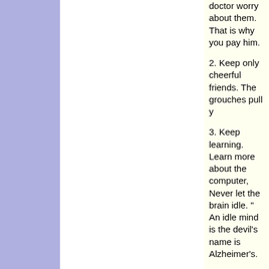doctor worry about them. That is why you pay him.
2. Keep only cheerful friends. The grouches pull y
3. Keep learning. Learn more about the computer, Never let the brain idle. " An idle mind is the devil's name is Alzheimer's.
4. Enjoy the simple things.
5. Laugh often, long and loud. Laugh until you gas
6. The tears happen. Endure, grieve, and move on our entire life, is ourselves. Be ALIVE while you ar
7. Surround yourself with what you love, whether i music, plants, hobbies, whatever. Your home is yo
8. Cherish your health: If it is good, preserve it. If i beyond what you can improve, get help.
9. Don't take guilt trips. Take a trip to the mall, to th country, but NOT to where the guilt is.